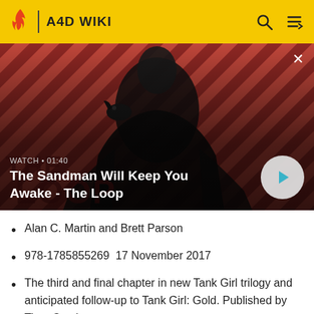A4D WIKI
[Figure (screenshot): Video thumbnail showing a dark-cloaked figure with a raven on their shoulder against a red and dark diagonal striped background. Overlay text reads: WATCH · 01:40 / The Sandman Will Keep You Awake - The Loop. A play button circle is visible at bottom right.]
Alan C. Martin and Brett Parson
978-1785855269  17 November 2017
The third and final chapter in new Tank Girl trilogy and anticipated follow-up to Tank Girl: Gold. Published by Titan Comics.